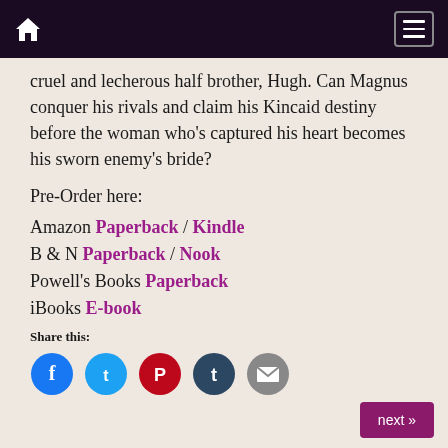Navigation bar with home icon and menu icon
cruel and lecherous half brother, Hugh. Can Magnus conquer his rivals and claim his Kincaid destiny before the woman who’s captured his heart becomes his sworn enemy’s bride?
Pre-Order here:
Amazon Paperback / Kindle
B & N Paperback / Nook
Powell’s Books Paperback
iBooks E-book
Share this:
[Figure (infographic): Row of social media share icons: Facebook (blue), Twitter (cyan), Pinterest (red), Tumblr (dark teal), Email (grey)]
next »